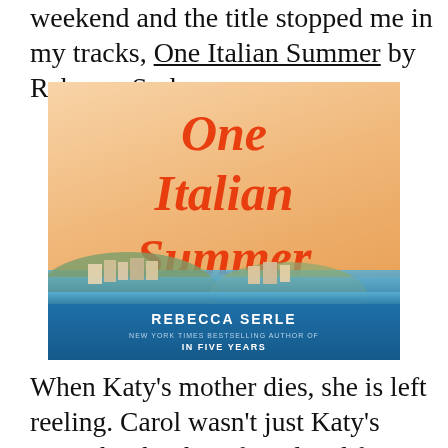weekend and the title stopped me in my tracks, One Italian Summer by Rebecca Serle.
[Figure (illustration): Book cover of 'One Italian Summer' by Rebecca Serle. Orange-red cursive title text on a warm peach/orange gradient background, with an illustrated Italian coastal town (Positano) at the bottom. Author name 'REBECCA SERLE' in white capital letters on a blue band, with subtitle 'NEW YORK TIMES BESTSELLING AUTHOR OF IN FIVE YEARS'.]
When Katy's mother dies, she is left reeling. Carol wasn't just Katy's mom, but her best friend and first phone call. She had all the answers and now, when Katy needs her the most, she is gone. To make matters worse, their planned mother-daughter trip of a lifetime looms: to Positano, the magical town where